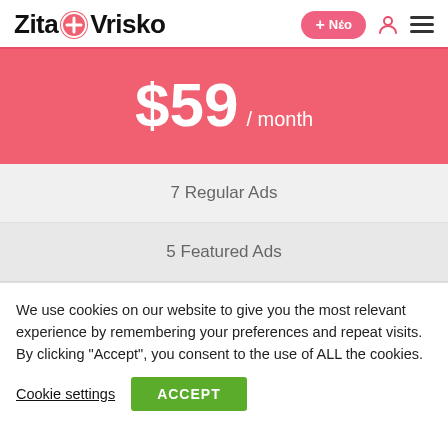ZitaOVrisko + Νέο
$59 / month
7 Regular Ads
5 Featured Ads
We use cookies on our website to give you the most relevant experience by remembering your preferences and repeat visits. By clicking “Accept”, you consent to the use of ALL the cookies.
Cookie settings  ACCEPT